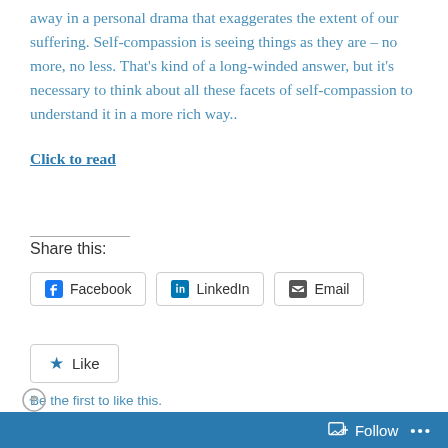away in a personal drama that exaggerates the extent of our suffering. Self-compassion is seeing things as they are – no more, no less. That's kind of a long-winded answer, but it's necessary to think about all these facets of self-compassion to understand it in a more rich way..
Click to read
Share this:
Facebook  LinkedIn  Email
Like
Be the first to like this.
Follow ...